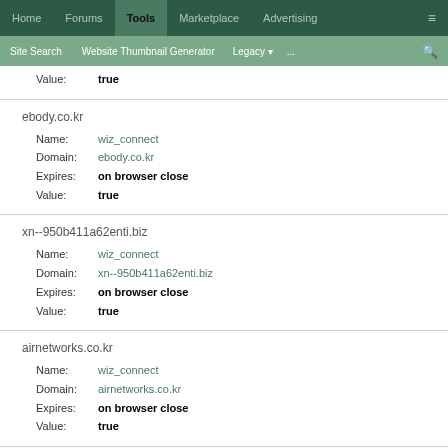Home | Forums | Tools | Marketplace | Advertising | ≡
Site Search | Website Thumbnail Generator | Legacy | ... | 🔍
Value: true
ebody.co.kr
Name: wiz_connect
Domain: ebody.co.kr
Expires: on browser close
Value: true
xn--950b411a62enti.biz
Name: wiz_connect
Domain: xn--950b411a62enti.biz
Expires: on browser close
Value: true
airnetworks.co.kr
Name: wiz_connect
Domain: airnetworks.co.kr
Expires: on browser close
Value: true
goldmoontv.kr
Name: wiz_connect